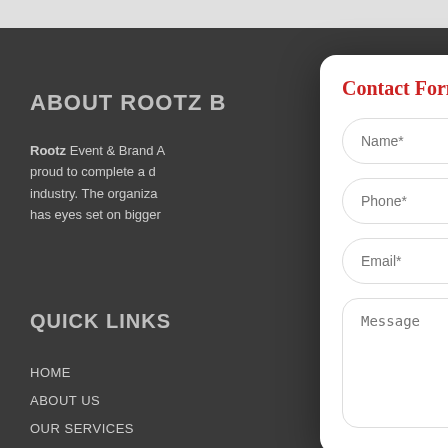ABOUT ROOTZ B
Rootz Event & Brand A... proud to complete a d... industry. The organiza... has eyes set on bigger
QUICK LINKS
HOME
ABOUT US
OUR SERVICES
[Figure (screenshot): Contact Form modal overlay with fields: Name*, Phone*, Email*, Message]
Contact Form